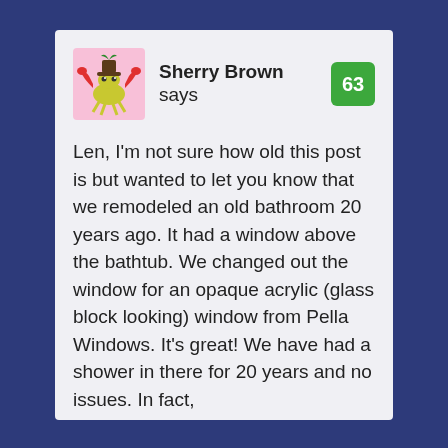[Figure (illustration): Avatar image of a cartoon crab character on a pink background]
Sherry Brown says
63
Len, I'm not sure how old this post is but wanted to let you know that we remodeled an old bathroom 20 years ago. It had a window above the bathtub. We changed out the window for an opaque acrylic (glass block looking) window from Pella Windows. It's great! We have had a shower in there for 20 years and no issues. In fact,